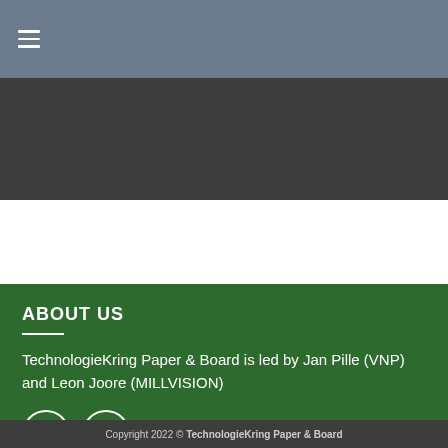TechnologieKring (navigation bar with hamburger menu)
ABOUT US
TechnologieKring Paper & Board is led by Jan Pille (VNP) and Leon Joore (MILLVISION)
Copyright 2022 © TechnologieKring Paper & Board